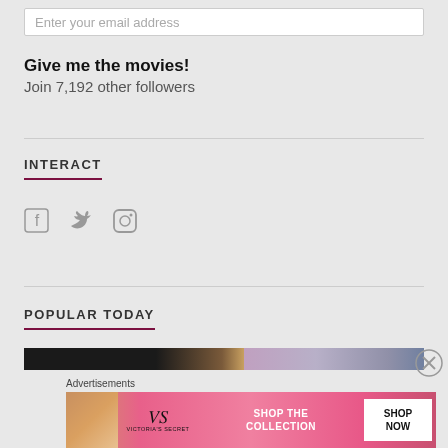Enter your email address
Give me the movies!
Join 7,192 other followers
INTERACT
[Figure (illustration): Social media icons: Facebook, Twitter, Instagram in grey]
POPULAR TODAY
[Figure (photo): Horizontal strip of popular article thumbnail images]
Advertisements
[Figure (illustration): Victoria's Secret advertisement banner with model, VS logo, 'SHOP THE COLLECTION' text, and 'SHOP NOW' button]